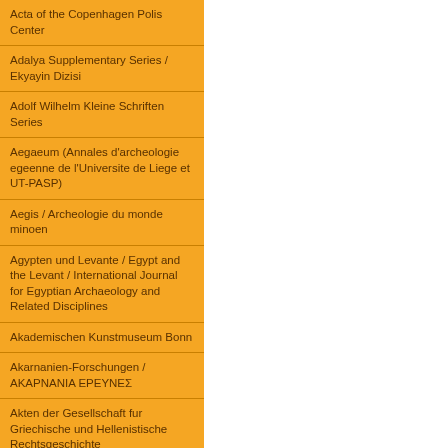Acta of the Copenhagen Polis Center
Adalya Supplementary Series / Ekyayin Dizisi
Adolf Wilhelm Kleine Schriften Series
Aegaeum (Annales d'archeologie egeenne de l'Universite de Liege et UT-PASP)
Aegis / Archeologie du monde minoen
Agypten und Levante / Egypt and the Levant / International Journal for Egyptian Archaeology and Related Disciplines
Akademischen Kunstmuseum Bonn
Akarnanien-Forschungen / ΑΚΑΡΝΑΝΙΑ ΕΡΕΥΝΕΣ
Akten der Gesellschaft fur Griechische und Hellenistische Rechtsgeschichte
Alexandrie / Travaux du Centre d'archeologie Mediterraneenne de l'Academie polonaise des sciences
Allard Pierson Series / Allard Pierson Stichting, Archaeologisch-Historische Bydragen
Alpha-Omega Series